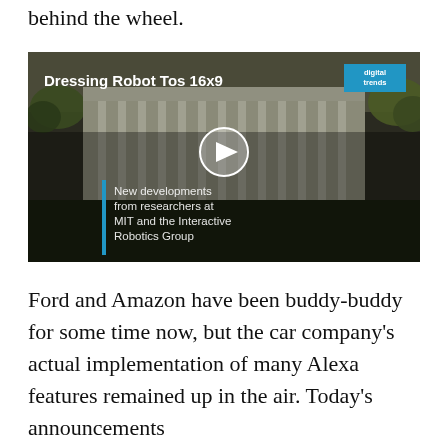behind the wheel.
[Figure (screenshot): Video thumbnail showing a classical columned building (MIT campus), with overlay title 'Dressing Robot Tos 16x9', a Digital Trends badge in the top right corner, a play button in the center, a blue vertical bar on the left side with caption text: 'New developments from researchers at MIT and the Interactive Robotics Group']
Ford and Amazon have been buddy-buddy for some time now, but the car company’s actual implementation of many Alexa features remained up in the air. Today’s announcements